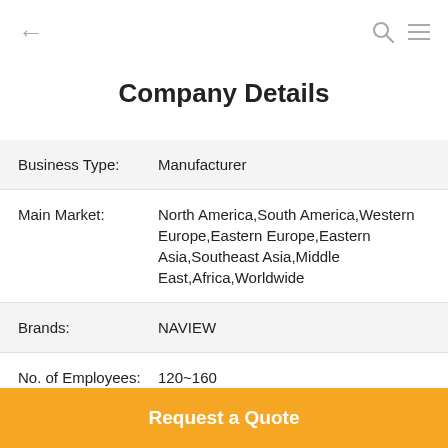← (back) | (search) (menu)
Company Details
| Field | Value |
| --- | --- |
| Business Type: | Manufacturer |
| Main Market: | North America,South America,Western Europe,Eastern Europe,Eastern Asia,Southeast Asia,Middle East,Africa,Worldwide |
| Brands: | NAVIEW |
| No. of Employees: | 120~160 |
| Annual Sales: | 1000000-10000000 |
Request a Quote